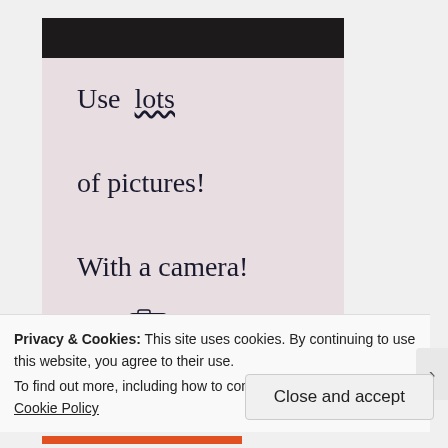[Figure (photo): A photograph of a piece of paper with handwritten text reading: 'Use lots of pictures! With a camera!' with a small sketch of a camera at the bottom. The paper has a dark background at the top suggesting a table surface.]
Privacy & Cookies: This site uses cookies. By continuing to use this website, you agree to their use.
To find out more, including how to control cookies, see here: Cookie Policy
Close and accept